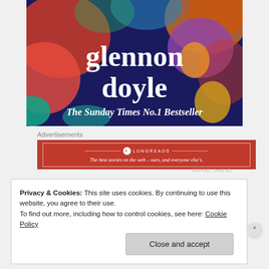[Figure (illustration): Book advertisement image for Glennon Doyle with colorful abstract background. Text reads 'glennon doyle' in large serif font and 'The Sunday Times No.1 Bestseller' underneath.]
Advertisements
[Figure (other): Longreads advertisement banner in red with white text: 'The best stories on the web – ours, and everyone else's.']
REPORT THIS AD
Privacy & Cookies: This site uses cookies. By continuing to use this website, you agree to their use.
To find out more, including how to control cookies, see here: Cookie Policy
Close and accept